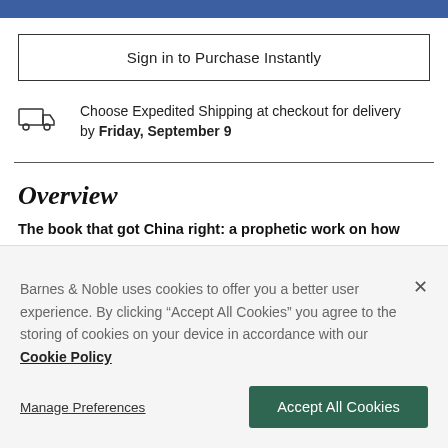[Figure (other): Blue horizontal bar at top of page]
Sign in to Purchase Instantly
Choose Expedited Shipping at checkout for delivery by Friday, September 9
Overview
The book that got China right: a prophetic work on how
Barnes & Noble uses cookies to offer you a better user experience. By clicking "Accept All Cookies" you agree to the storing of cookies on your device in accordance with our Cookie Policy
Manage Preferences
Accept All Cookies